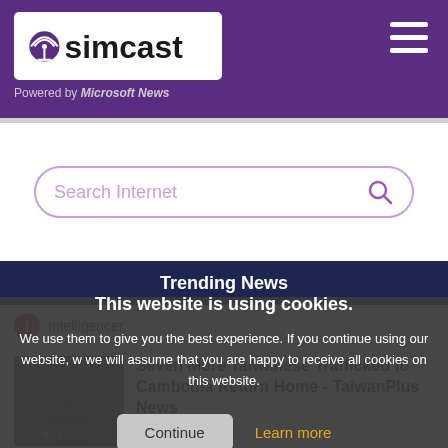simcast — Powered by Microsoft News
[Figure (screenshot): Search Internet input box with purple border and search icon]
Trending News
This website is using cookies.
We use them to give you the best experience. If you continue using our website, we will assume that you are happy to receive all cookies on this website.
Continue  Learn more
Intelligencer
Seven More Taiwanese Trafficked to Cambodia Return Home - TaiwanPlus News